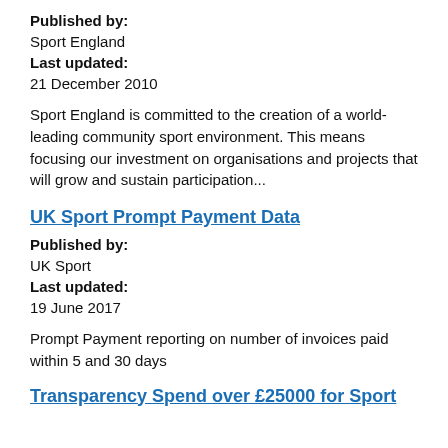Published by:
Sport England
Last updated:
21 December 2010
Sport England is committed to the creation of a world-leading community sport environment. This means focusing our investment on organisations and projects that will grow and sustain participation...
UK Sport Prompt Payment Data
Published by:
UK Sport
Last updated:
19 June 2017
Prompt Payment reporting on number of invoices paid within 5 and 30 days
Transparency Spend over £25000 for Sport